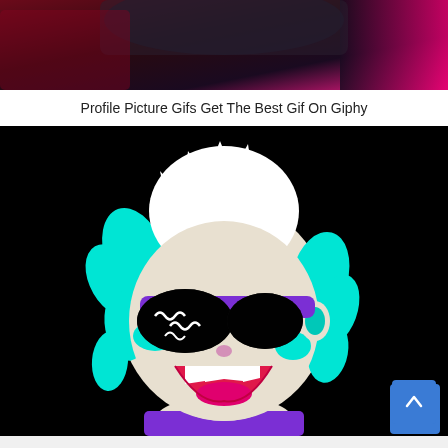[Figure (photo): Top portion of an image showing a person with pink and dark tones, cropped at the bottom]
Profile Picture Gifs Get The Best Gif On Giphy
[Figure (illustration): Animated-style illustration of a cartoon character with white spiky hair, black sunglasses with purple frames, cyan accents, pink open mouth with teeth, on a black background. A blue scroll-to-top button with an upward chevron arrow is in the bottom right corner.]